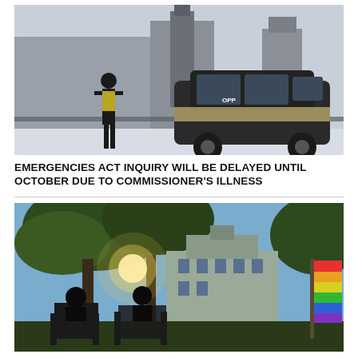[Figure (photo): A police officer in a yellow vest stands beside a black police SUV on a blocked street, with Parliament Hill buildings visible in the background in winter.]
EMERGENCIES ACT INQUIRY WILL BE DELAYED UNTIL OCTOBER DUE TO COMMISSIONER'S ILLNESS
[Figure (photo): Silhouettes of people sitting in camp chairs under trees in a park, with a rainbow pride flag visible on the right and a historic building in the background.]
COURT TO WEIGH IN ON CONVOY-RELATED GROUP'S RIGHT TO STAY IN OTTAWA